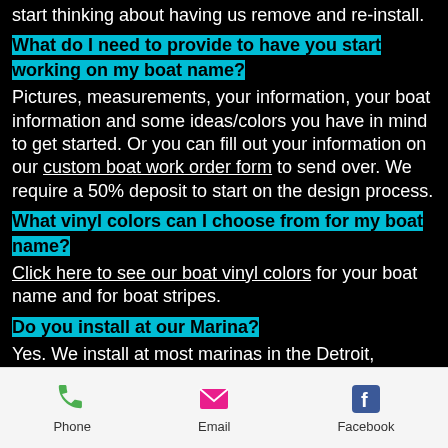start thinking about having us remove and re-install.
What do I need to provide to have you start working on my boat name?
Pictures, measurements, your information, your boat information and some ideas/colors you have in mind to get started. Or you can fill out your information on our custom boat work order form to send over. We require a 50% deposit to start on the design process.
What vinyl colors can I choose from for my boat name?
Click here to see our boat vinyl colors for your boat name and for boat stripes.
Do you install at our Marina?
Yes. We install at most marinas in the Detroit, Michigan area.  We also make
Phone  Email  Facebook